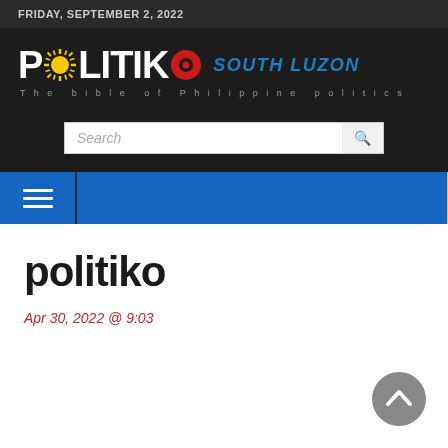FRIDAY, SEPTEMBER 2, 2022
[Figure (logo): Politiko South Luzon logo with sun icon, red O, and blue italic 'SOUTH LUZON' text. Tagline: The bible of Philippine politics]
politiko
Apr 30, 2022 @ 9:03
[Figure (other): Back-to-top arrow button (grey circle with white chevron up)]